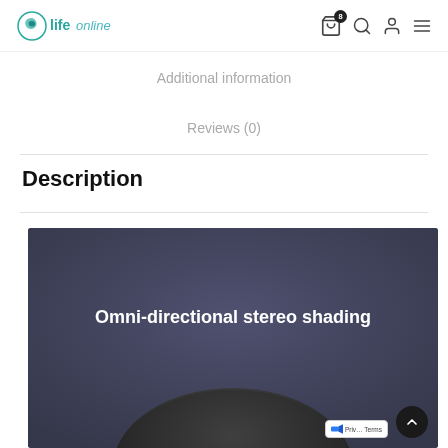life online — navigation header with cart (8), search, account, and menu icons
Additional information
Reviews (0)
Description
[Figure (photo): Dark grey/blue background product image with white bold text reading 'Omni-directional stereo shading' and a partial view of a round black object at the bottom]